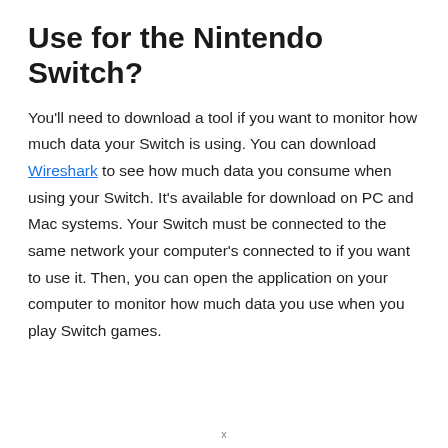Use for the Nintendo Switch?
You'll need to download a tool if you want to monitor how much data your Switch is using. You can download Wireshark to see how much data you consume when using your Switch. It's available for download on PC and Mac systems. Your Switch must be connected to the same network your computer's connected to if you want to use it. Then, you can open the application on your computer to monitor how much data you use when you play Switch games.